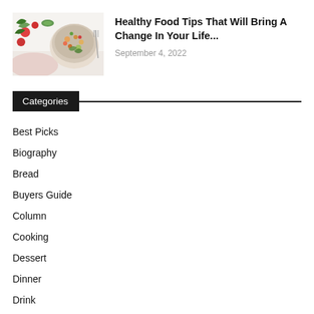[Figure (photo): Food photography showing vegetables and a bowl of salad/grain dish from overhead view]
Healthy Food Tips That Will Bring A Change In Your Life...
September 4, 2022
Categories
Best Picks
Biography
Bread
Buyers Guide
Column
Cooking
Dessert
Dinner
Drink
Featured